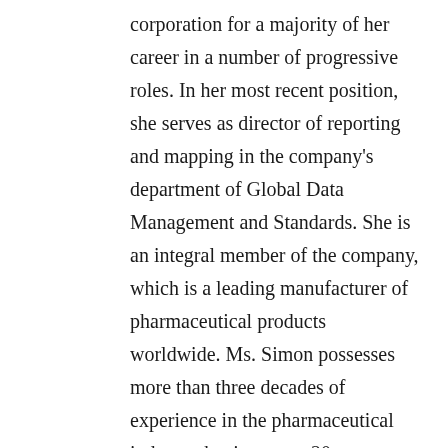corporation for a majority of her career in a number of progressive roles. In her most recent position, she serves as director of reporting and mapping in the company's department of Global Data Management and Standards. She is an integral member of the company, which is a leading manufacturer of pharmaceutical products worldwide. Ms. Simon possesses more than three decades of experience in the pharmaceutical industry, having spent 20 years focused in clinical data management. Her primary areas of skill include project and resource management, system validation, budgeting, development and maintenance of reporting standards, performance analysis, data acquisition, process engineering, programming, technical